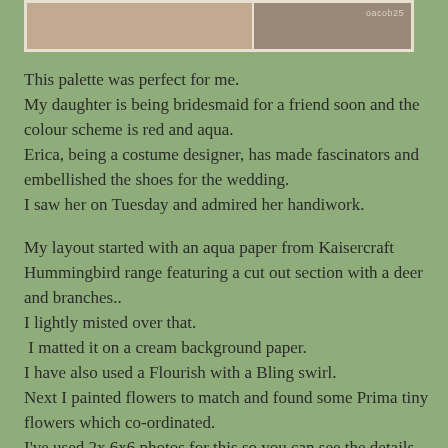[Figure (photo): Partial view of two photos side by side at the top of the page on a cream/beige background with white border]
This palette was perfect for me.
My daughter is being bridesmaid for a friend soon and the colour scheme is red and aqua.
Erica, being a costume designer, has made fascinators and embellished the shoes for the wedding.
I saw her on Tuesday and admired her handiwork.

My layout started with an aqua paper from Kaisercraft Hummingbird range featuring a cut out section with a deer and branches..
I lightly misted over that.
 I matted it on a cream background paper.
I have also used a Flourish with a Bling swirl.
Next I painted flowers to match and found some Prima tiny flowers which co-ordinated.
I've used 2x 6x6 photos for this so you can see the details.
The MME Chalk chevron arrow united the left and right hand side.
At the bottom is a quote "be happy for this moment, this moment is your life."